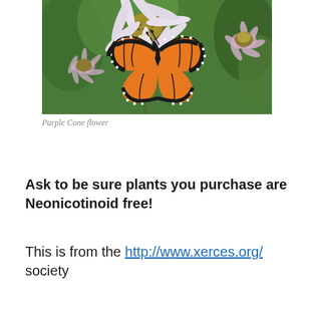[Figure (photo): A monarch butterfly perched on purple coneflowers (Echinacea) with green foliage in the background.]
Purple Cone flower
Ask to be sure plants you purchase are Neonicotinoid free!
This is from the http://www.xerces.org/ society